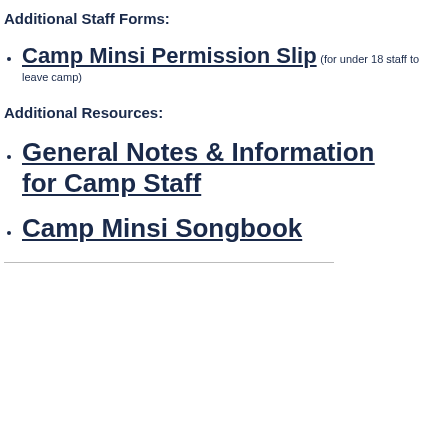Additional Staff Forms:
Camp Minsi Permission Slip (for under 18 staff to leave camp)
Additional Resources:
General Notes & Information for Camp Staff
Camp Minsi Songbook